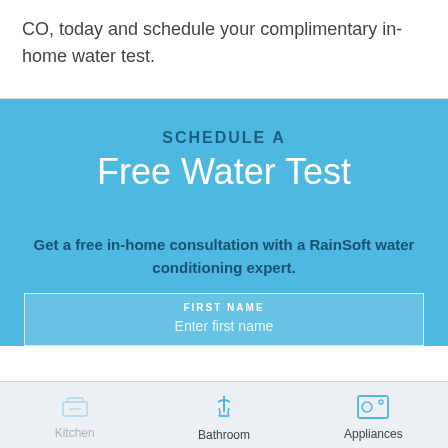CO, today and schedule your complimentary in-home water test.
SCHEDULE A
Free Water Test
Get a free in-home consultation with a RainSoft water conditioning expert.
FIRST NAME
Enter first name
Kitchen  Bathroom  Appliances